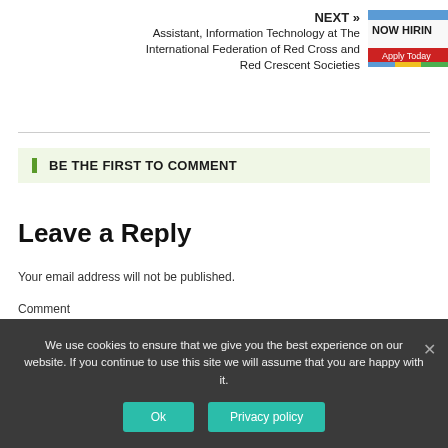NEXT » Assistant, Information Technology at The International Federation of Red Cross and Red Crescent Societies
[Figure (illustration): NOW HIRING Apply Today banner image with blue, red and green stripes]
BE THE FIRST TO COMMENT
Leave a Reply
Your email address will not be published.
Comment
We use cookies to ensure that we give you the best experience on our website. If you continue to use this site we will assume that you are happy with it.